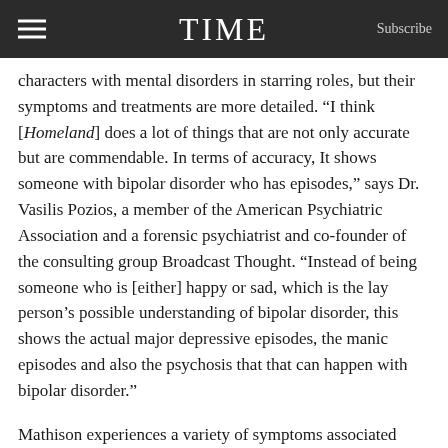TIME  Subscribe
characters with mental disorders in starring roles, but their symptoms and treatments are more detailed. “I think [Homeland] does a lot of things that are not only accurate but are commendable. In terms of accuracy, It shows someone with bipolar disorder who has episodes,” says Dr. Vasilis Pozios, a member of the American Psychiatric Association and a forensic psychiatrist and co-founder of the consulting group Broadcast Thought. “Instead of being someone who is [either] happy or sad, which is the lay person’s possible understanding of bipolar disorder, this shows the actual major depressive episodes, the manic episodes and also the psychosis that that can happen with bipolar disorder.”
Mathison experiences a variety of symptoms associated with bipolar disorder, including impulsivity and engaging in risky behaviors, including sexual promiscuity (her character slept with